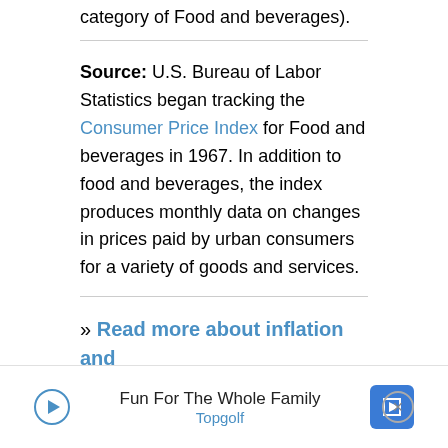category of Food and beverages).
Source: U.S. Bureau of Labor Statistics began tracking the Consumer Price Index for Food and beverages in 1967. In addition to food and beverages, the index produces monthly data on changes in prices paid by urban consumers for a variety of goods and services.
» Read more about inflation and investment.
In other countries:
Canada Inflation